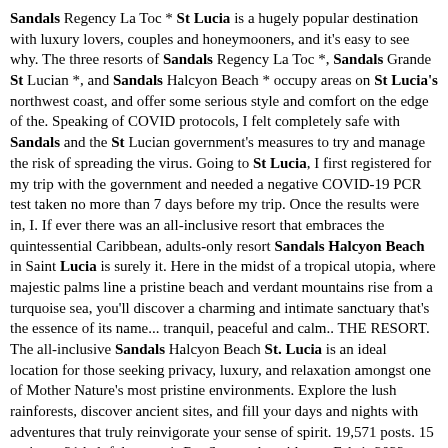Sandals Regency La Toc * St Lucia is a hugely popular destination with luxury lovers, couples and honeymooners, and it's easy to see why. The three resorts of Sandals Regency La Toc *, Sandals Grande St Lucian *, and Sandals Halcyon Beach * occupy areas on St Lucia's northwest coast, and offer some serious style and comfort on the edge of the. Speaking of COVID protocols, I felt completely safe with Sandals and the St Lucian government's measures to try and manage the risk of spreading the virus. Going to St Lucia, I first registered for my trip with the government and needed a negative COVID-19 PCR test taken no more than 7 days before my trip. Once the results were in, I. If ever there was an all-inclusive resort that embraces the quintessential Caribbean, adults-only resort Sandals Halcyon Beach in Saint Lucia is surely it. Here in the midst of a tropical utopia, where majestic palms line a pristine beach and verdant mountains rise from a turquoise sea, you'll discover a charming and intimate sanctuary that's the essence of its name... tranquil, peaceful and calm.. THE RESORT. The all-inclusive Sandals Halcyon Beach St. Lucia is an ideal location for those seeking privacy, luxury, and relaxation amongst one of Mother Nature's most pristine environments. Explore the lush rainforests, discover ancient sites, and fill your days and nights with adventures that truly reinvigorate your sense of spirit. 19,571 posts. 15 reviews. 21 helpful votes. 1. Re: Seaweed avoidance. Feb 1, 2022, 3:00 PM. All the Sandals are along the west Caribbean coast, which doesn't get hit by. Generally